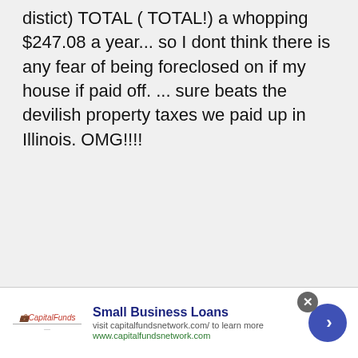distict) TOTAL ( TOTAL!) a whopping $247.08 a year... so I dont think there is any fear of being foreclosed on if my house if paid off. ... sure beats the devilish property taxes we paid up in Illinois. OMG!!!!
[Figure (illustration): User avatar: cartoon frog character wearing a hard hat]
Kelvin says
Total $247.08 taxes a year! Which state and city do you live in? I'm
[Figure (other): Advertisement bar: Small Business Loans - visit capitalfundsnetwork.com/ to learn more, www.capitalfundsnetwork.com]